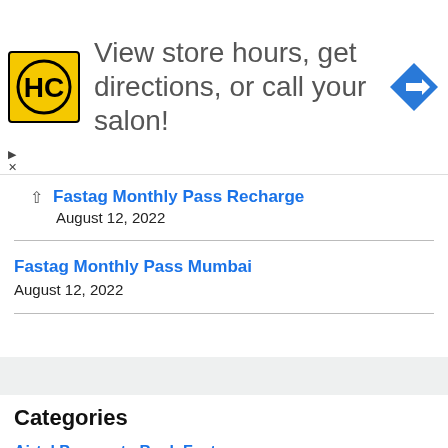[Figure (infographic): Advertisement banner with HC (Hair Club) yellow logo on left, text 'View store hours, get directions, or call your salon!' in center, blue navigation/directions diamond icon on right. Play and close controls at bottom-left.]
Fastag Monthly Pass Recharge
August 12, 2022
Fastag Monthly Pass Mumbai
August 12, 2022
Categories
Airtel Payments Bank Fastag